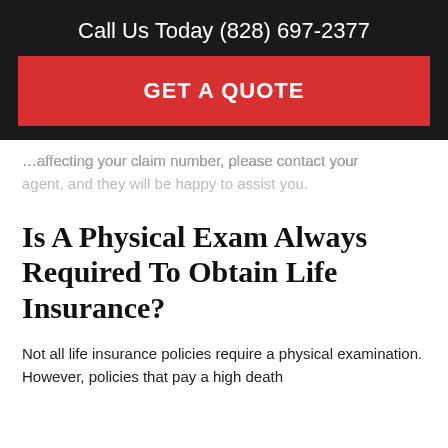Call Us Today (828) 697-2377
[Figure (other): Red GET A QUOTE button banner]
... affecting your claim number, please contact your agent, and they will be happy to assist you.
Is A Physical Exam Always Required To Obtain Life Insurance?
Not all life insurance policies require a physical examination. However, policies that pay a high death